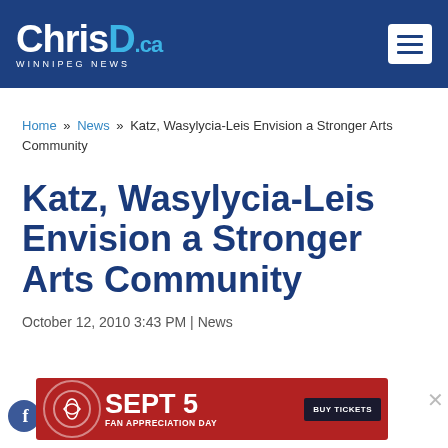ChrisD.ca WINNIPEG NEWS
Home » News » Katz, Wasylycia-Leis Envision a Stronger Arts Community
Katz, Wasylycia-Leis Envision a Stronger Arts Community
October 12, 2010 3:43 PM | News
[Figure (screenshot): Red advertisement banner for Sept 5 Fan Appreciation Day with Buy Tickets button]